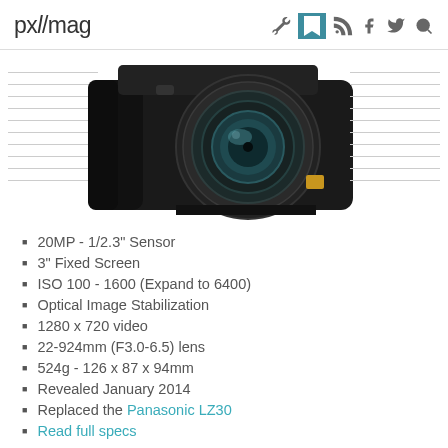pxl/mag
[Figure (photo): Black compact digital camera (Panasonic bridge camera) with a large zoom lens, shown front-facing. Decorative horizontal lines appear on both sides of the camera image.]
20MP - 1/2.3" Sensor
3" Fixed Screen
ISO 100 - 1600 (Expand to 6400)
Optical Image Stabilization
1280 x 720 video
22-924mm (F3.0-6.5) lens
524g - 126 x 87 x 94mm
Revealed January 2014
Replaced the Panasonic LZ30
Read full specs